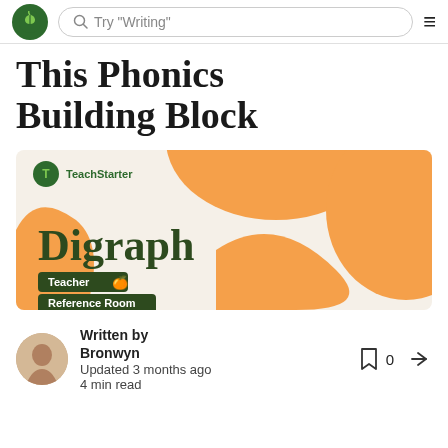Try "Writing"
This Phonics Building Block
[Figure (illustration): TeachStarter branded banner image with orange abstract blob shapes on a light beige background. Shows the TeachStarter logo and name in the top left. Large bold dark green text reads 'Digraph'. Two dark green pill/badge labels at the bottom left read 'Teacher' (with an apple emoji) and 'Reference Room'.]
Written by Bronwyn
Updated 3 months ago
4 min read